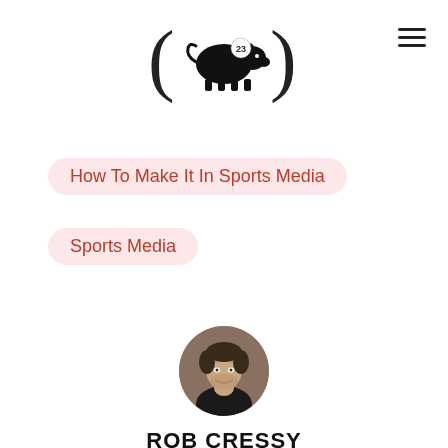[Figure (logo): Pig silhouette logo with parentheses and number 23, black on white]
How To Make It In Sports Media
Sports Media
[Figure (photo): Circular profile photo of Rob Cressy, a smiling man in a dark shirt]
ROB CRESSY
Sports loving free throw specialist and yinzer living in Chicago who is awesome most of the time, has run with the bulls in